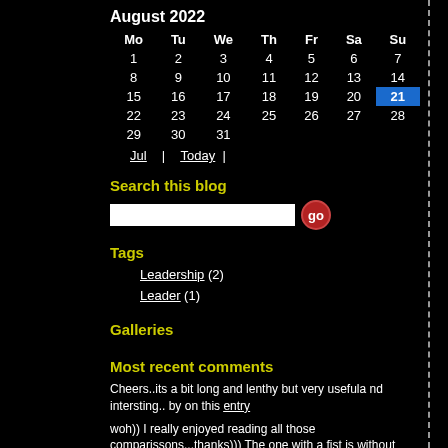| Mo | Tu | We | Th | Fr | Sa | Su |
| --- | --- | --- | --- | --- | --- | --- |
| 1 | 2 | 3 | 4 | 5 | 6 | 7 |
| 8 | 9 | 10 | 11 | 12 | 13 | 14 |
| 15 | 16 | 17 | 18 | 19 | 20 | 21 |
| 22 | 23 | 24 | 25 | 26 | 27 | 28 |
| 29 | 30 | 31 |  |  |  |  |
Search this blog
Tags
Leadership (2)
Leader (1)
Galleries
Most recent comments
Cheers..its a bit long and lenthy but very usefula nd intersting.. by on this entry
woh)) I really enjoyed reading all those comparissons...thanks))) The one with a fist is without dou… by on this entry
If you are talking of Profet Muhammed, then he was a preacher of culture who turned into a God for M… by on this entry